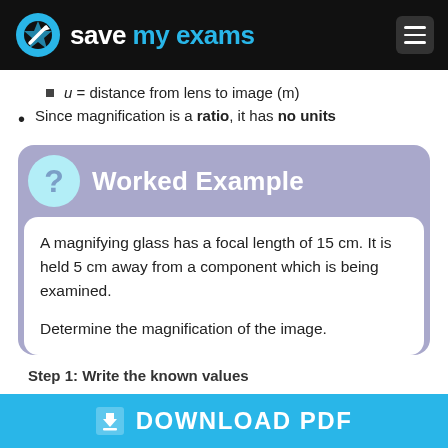Save My Exams
u = distance from lens to image (m)
Since magnification is a ratio, it has no units
Worked Example
A magnifying glass has a focal length of 15 cm. It is held 5 cm away from a component which is being examined.

Determine the magnification of the image.
Step 1: Write the known values
DOWNLOAD PDF